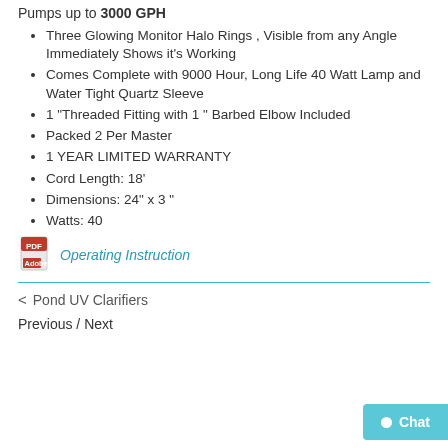Pumps up to 3000 GPH
Three Glowing Monitor Halo Rings , Visible from any Angle Immediately Shows it's Working
Comes Complete with 9000 Hour, Long Life 40 Watt Lamp and Water Tight Quartz Sleeve
1 "Threaded Fitting with 1 " Barbed Elbow Included
Packed 2 Per Master
1 YEAR LIMITED WARRANTY
Cord Length: 18'
Dimensions: 24" x 3 "
Watts: 40
[Figure (other): PDF icon for Adobe Reader linking to Operating Instruction]
Operating Instruction
< Pond UV Clarifiers
Previous / Next